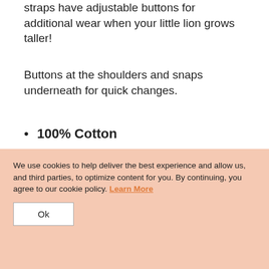straps have adjustable buttons for additional wear when your little lion grows taller!
Buttons at the shoulders and snaps underneath for quick changes.
100% Cotton
Snaps underneath
Fully lined
Machine wash cold, dry flat.
We use cookies to help deliver the best experience and allow us, and third parties, to optimize content for you. By continuing, you agree to our cookie policy. Learn More
Ok